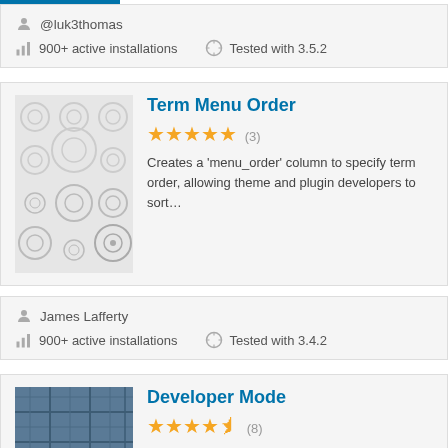@luk3thomas
900+ active installations   Tested with 3.5.2
Term Menu Order
★★★★★ (3)
Creates a 'menu_order' column to specify term order, allowing theme and plugin developers to sort...
James Lafferty
900+ active installations   Tested with 3.4.2
Developer Mode
★★★★½ (8)
Limit access to the WordPress admin and force redirect to...